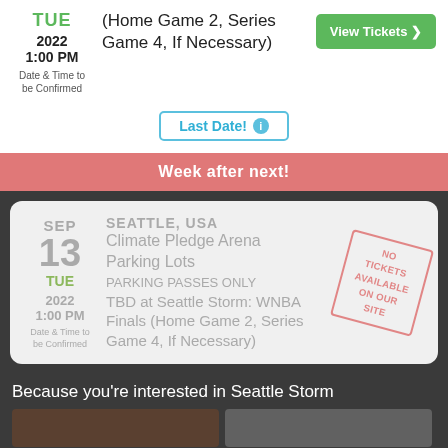(Home Game 2, Series Game 4, If Necessary)
TUE
2022
1:00 PM
Date & Time to be Confirmed
View Tickets
Last Date!
Week after next!
SEATTLE, USA
Climate Pledge Arena Parking Lots
PARKING PASSES ONLY
TBD at Seattle Storm: WNBA Finals (Home Game 2, Series Game 4, If Necessary)
SEP
13
TUE
2022
1:00 PM
Date & Time to be Confirmed
NO TICKETS AVAILABLE ON OUR SITE
Because you're interested in Seattle Storm